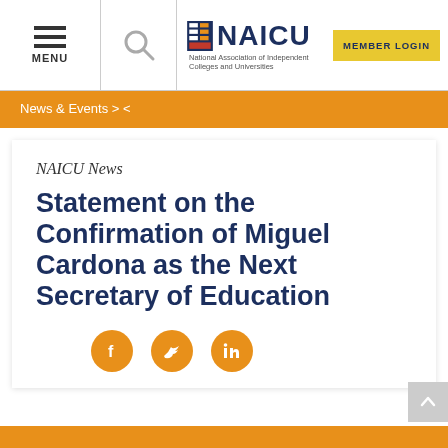MENU | NAICU — National Association of Independent Colleges and Universities | MEMBER LOGIN
News & Events > <
NAICU News
Statement on the Confirmation of Miguel Cardona as the Next Secretary of Education
[Figure (infographic): Social media share icons: Facebook, Twitter, LinkedIn — orange circles with white icons]